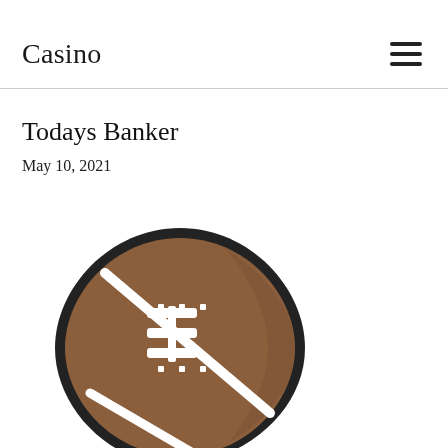Casino
Todays Banker
May 10, 2021
[Figure (illustration): American football icon illustration — a brown football with white laces and black outline, shown at an angle, bottom portion cropped by page edge.]